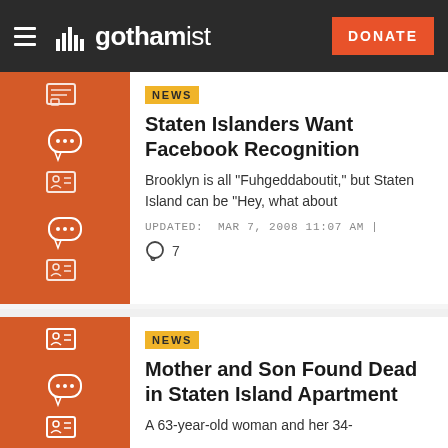gothamist — DONATE
[Figure (illustration): Orange thumbnail with news/chat icons]
NEWS
Staten Islanders Want Facebook Recognition
Brooklyn is all "Fuhgeddaboutit," but Staten Island can be "Hey, what about
UPDATED: MAR 7, 2008 11:07 AM |
7
[Figure (illustration): Orange thumbnail with news/chat icons]
NEWS
Mother and Son Found Dead in Staten Island Apartment
A 63-year-old woman and her 34-